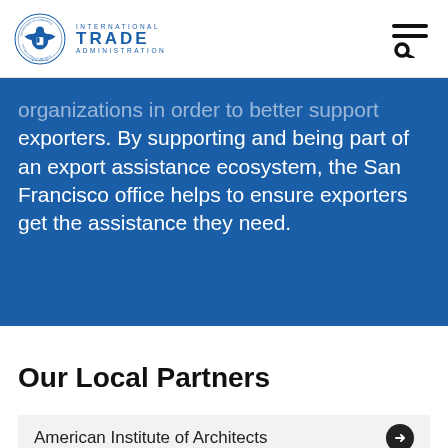International Trade Administration
organizations in order to better support exporters. By supporting and being part of an export assistance ecosystem, the San Francisco office helps to ensure exporters get the assistance they need.
Our Local Partners
American Institute of Architects